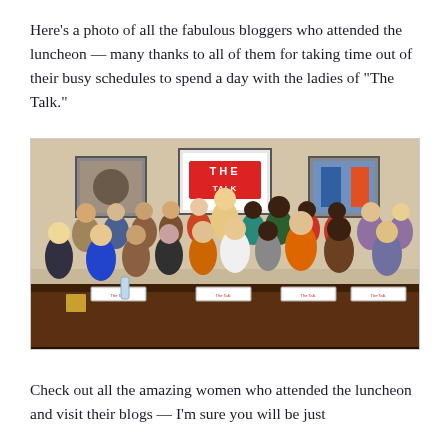Here's a photo of all the fabulous bloggers who attended the luncheon — many thanks to all of them for taking time out of their busy schedules to spend a day with the ladies of "The Talk."
[Figure (photo): Group photo of approximately 25 women bloggers seated and standing around a conference table with a 'THE TALK' sign visible in the background, along with framed artwork on the walls.]
Check out all the amazing women who attended the luncheon and visit their blogs — I'm sure you will be just